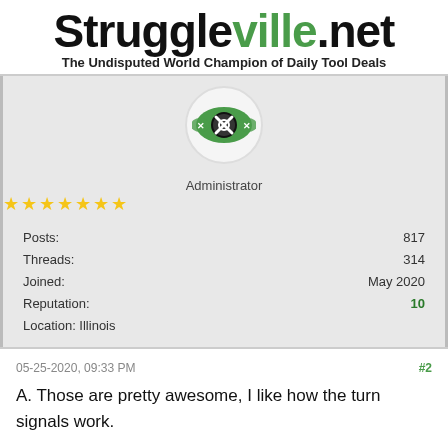Struggleville.net — The Undisputed World Champion of Daily Tool Deals
[Figure (logo): Struggleville administrator badge/avatar: green championship belt icon with crossed wrenches on a white circular background]
Administrator
★★★★★★★ (7 gold stars)
Posts: 817
Threads: 314
Joined: May 2020
Reputation: 10
Location: Illinois
05-25-2020, 09:33 PM  #2
A. Those are pretty awesome, I like how the turn signals work.